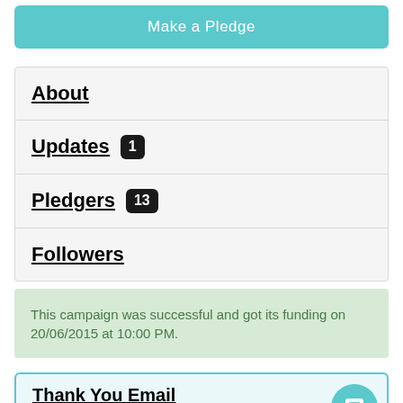Make a Pledge
About
Updates 1
Pledgers 13
Followers
This campaign was successful and got its funding on 20/06/2015 at 10:00 PM.
Thank You Email